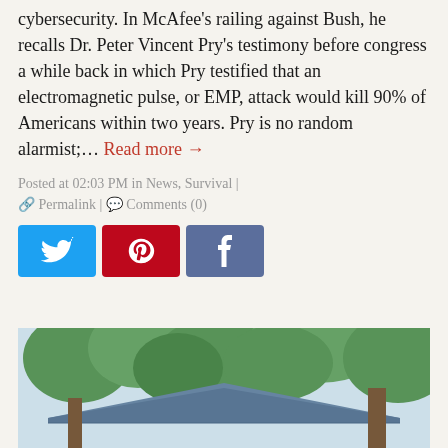cybersecurity. In McAfee's railing against Bush, he recalls Dr. Peter Vincent Pry's testimony before congress a while back in which Pry testified that an electromagnetic pulse, or EMP, attack would kill 90% of Americans within two years. Pry is no random alarmist;... Read more →
Posted at 02:03 PM in News, Survival | 🔗 Permalink | 💬 Comments (0)
[Figure (photo): Exterior photo of a cabin or house roof surrounded by green trees and foliage, viewed from below looking up.]